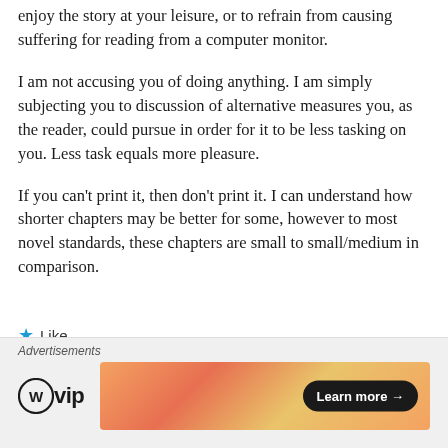enjoy the story at your leisure, or to refrain from causing suffering for reading from a computer monitor.
I am not accusing you of doing anything. I am simply subjecting you to discussion of alternative measures you, as the reader, could pursue in order for it to be less tasking on you. Less task equals more pleasure.
If you can't print it, then don't print it. I can understand how shorter chapters may be better for some, however to most novel standards, these chapters are small to small/medium in comparison.
★ Like
Advertisements
[Figure (logo): WordPress VIP logo with circle W icon and 'vip' text, alongside a colorful gradient ad banner with 'Learn more →' button]